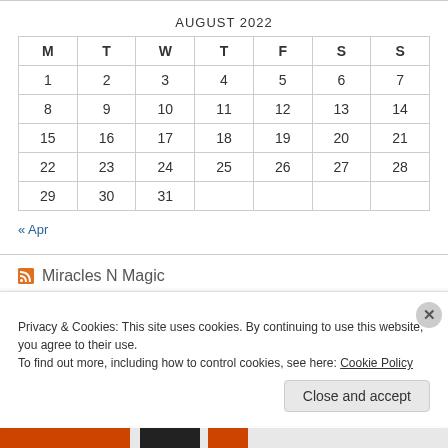AUGUST 2022
| M | T | W | T | F | S | S |
| --- | --- | --- | --- | --- | --- | --- |
| 1 | 2 | 3 | 4 | 5 | 6 | 7 |
| 8 | 9 | 10 | 11 | 12 | 13 | 14 |
| 15 | 16 | 17 | 18 | 19 | 20 | 21 |
| 22 | 23 | 24 | 25 | 26 | 27 | 28 |
| 29 | 30 | 31 |  |  |  |  |
« Apr
Miracles N Magic
Privacy & Cookies: This site uses cookies. By continuing to use this website, you agree to their use.
To find out more, including how to control cookies, see here: Cookie Policy
Close and accept